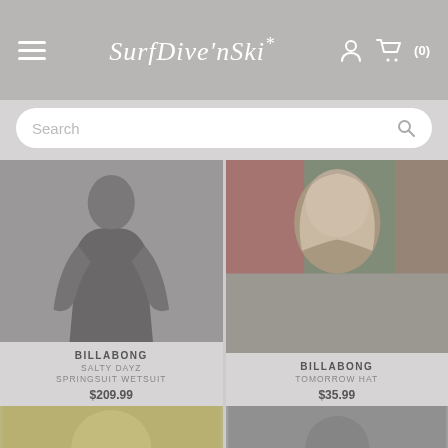SurfDive'nSki* (0)
Search
[Figure (photo): Woman wearing a dark Billabong long-sleeve springsuit wetsuit with floral print sleeves]
BILLABONG
SALTY DAYZ SPRINGSUIT WETSUIT
$209.99
[Figure (photo): Woman wearing an olive/khaki Billabong hat, close-up portrait]
BILLABONG
TOMORROW HAT
$35.99
[Figure (photo): Partial product images at bottom of page, two items partially visible]